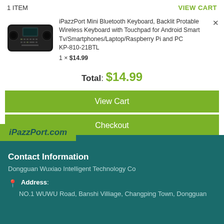1 ITEM
VIEW CART
[Figure (photo): Mini Bluetooth keyboard with touchpad, black color]
iPazzPort Mini Bluetooth Keyboard, Backlit Protable Wireless Keyboard with Touchpad for Android Smart Tv/Smartphones/Laptop/Raspberry Pi and PC KP-810-21BTL
1 × $14.99
Total: $14.99
View Cart
Checkout
iPazzPort.com
Contact Information
Dongguan Wuxiao Intelligent Technology Co
Address:
NO.1 WUWU Road, Banshi Villiage, Changping Town, Dongguan